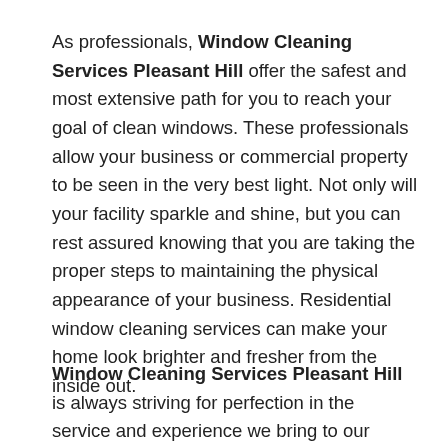As professionals, Window Cleaning Services Pleasant Hill offer the safest and most extensive path for you to reach your goal of clean windows. These professionals allow your business or commercial property to be seen in the very best light. Not only will your facility sparkle and shine, but you can rest assured knowing that you are taking the proper steps to maintaining the physical appearance of your business. Residential window cleaning services can make your home look brighter and fresher from the inside out.
Window Cleaning Services Pleasant Hill is always striving for perfection in the service and experience we bring to our clients. Committed to